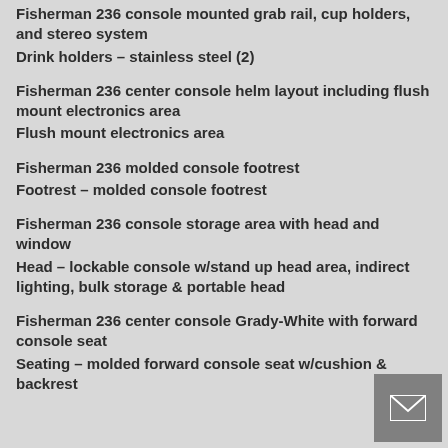Fisherman 236 console mounted grab rail, cup holders, and stereo system
Drink holders – stainless steel (2)
Fisherman 236 center console helm layout including flush mount electronics area
Flush mount electronics area
Fisherman 236 molded console footrest
Footrest – molded console footrest
Fisherman 236 console storage area with head and window
Head – lockable console w/stand up head area, indirect lighting, bulk storage & portable head
Fisherman 236 center console Grady-White with forward console seat
Seating – molded forward console seat w/cushion & backrest